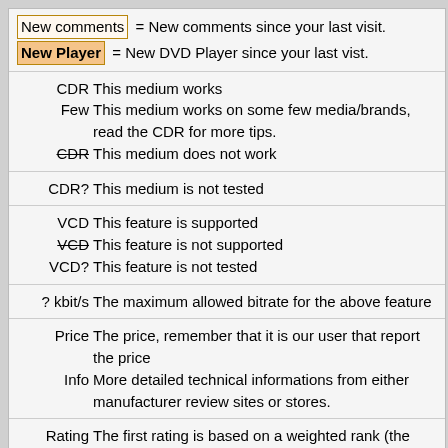New comments = New comments since your last visit.
New Player = New DVD Player since your last vist.
CDR This medium works
Few This medium works on some few media/brands, read the CDR for more tips.
CDR (strikethrough) This medium does not work
CDR? This medium is not tested
VCD This feature is supported
VCD (strikethrough) This feature is not supported
VCD? This feature is not tested
? kbit/s The maximum allowed bitrate for the above feature
Price The price, remember that it is our user that report the price
Info More detailed technical informations from either manufacturer review sites or stores.
Rating The first rating is based on a weighted rank (the true Bayesian) requires at least 5 votes to get a weighted rating. The second rating between the () is a normal average rating.
Reports Total reports, click on view reports to view them and add own report and comments